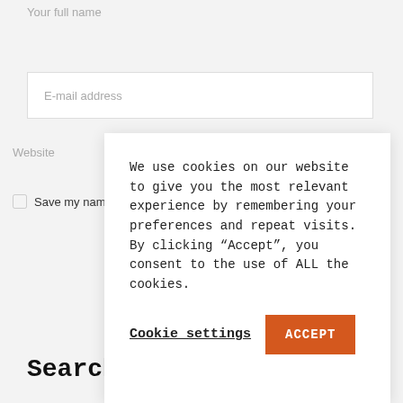Your full name
E-mail address
Website
Save my name, em...
We use cookies on our website to give you the most relevant experience by remembering your preferences and repeat visits. By clicking “Accept”, you consent to the use of ALL the cookies.
Cookie settings
ACCEPT
Search